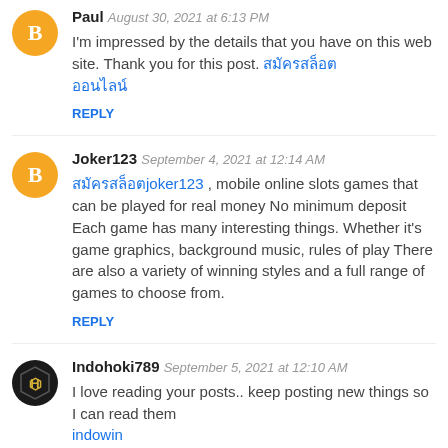Paul  August 30, 2021 at 6:13 PM
I'm impressed by the details that you have on this web site. Thank you for this post. [Thai text link]
REPLY
Joker123  September 4, 2021 at 12:14 AM
[Thai text]joker123 , mobile online slots games that can be played for real money No minimum deposit Each game has many interesting things. Whether it's game graphics, background music, rules of play There are also a variety of winning styles and a full range of games to choose from.
REPLY
Indohoki789  September 5, 2021 at 12:10 AM
I love reading your posts.. keep posting new things so I can read them
indowin
indowin